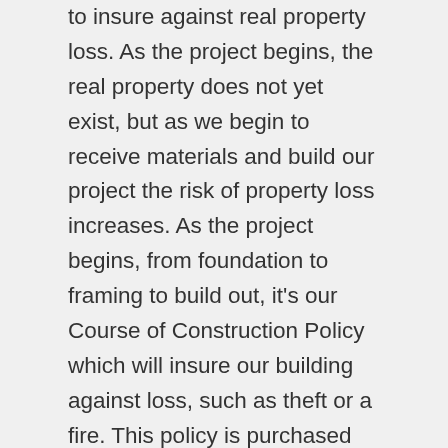to insure against real property loss. As the project begins, the real property does not yet exist, but as we begin to receive materials and build our project the risk of property loss increases.  As the project begins, from foundation to framing to build out, it's our Course of Construction Policy which will insure our building against loss, such as theft or a fire.  This policy is purchased by the developer, who is the named insured on the policy, with the bank being listed as loss payee.
Let's assume a construction budget of $10